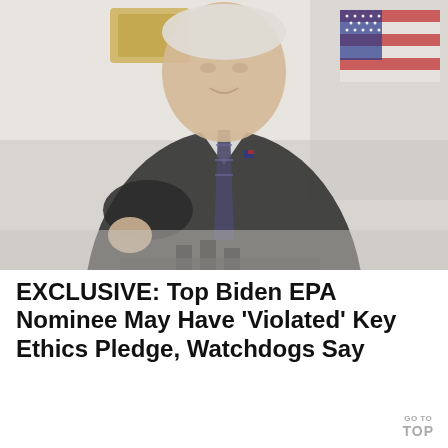[Figure (photo): Photo of President Biden speaking at a podium with microphones, wearing a dark suit with a striped tie and American flag pin, with an American flag visible in the background.]
EXCLUSIVE: Top Biden EPA Nominee May Have ‘Violated’ Key Ethics Pledge, Watchdogs Say